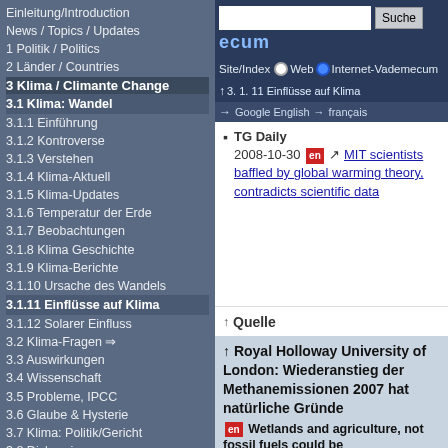Einleitung/Introduction
News / Topics / Updates
1 Politik / Politics
2 Länder / Countries
3 Klima / Climante Change
3.1 Klima: Wandel
3.1.1 Einführung
3.1.2 Kontroverse
3.1.3 Verstehen
3.1.4 Klima-Aktuell
3.1.5 Klima-Updates
3.1.6 Temperatur der Erde
3.1.7 Beobachtungen
3.1.8 Klima Geschichte
3.1.9 Klima-Berichte
3.1.10 Ursache des Wandels
3.1.11 Einflüsse auf Klima
3.1.12 Solarer Einfluss
3.2 Klima-Fragen ⇒
3.3 Auswirkungen
3.4 Wissenschaft
3.5 Probleme, IPCC
3.6 Glaube & Hysterie
3.7 Klima: Politik/Gericht
3.8 Diskussion
3.9 Analysen
3.10 Informationen
3.11 Präsentationen
3.12 Who is who
3.13 Webseiten
TG Daily 2008-10-30 en MIT scientists baffled by global warming theory, contradicts scientific data
↑ Quelle
↑ Royal Holloway University of London: Wiederanstieg der Methanemissionen 2007 hat natürliche Gründe en Wetlands and agriculture, not fossil fuels could be